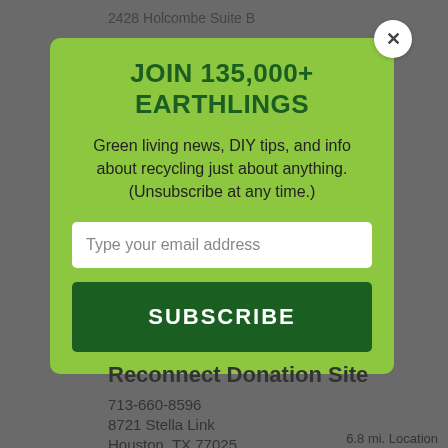2428 Holcombe Suite B
JOIN 135,000+ EARTHLINGS
Green living news, DIY tips, and info about recycling just about anything. (Unsubscribe at any time.)
Type your email address
SUBSCRIBE
Reconnect Donation Site
713-660-8596
8721 Stella Link
Houston, TX 77025
6.8 mi. Location